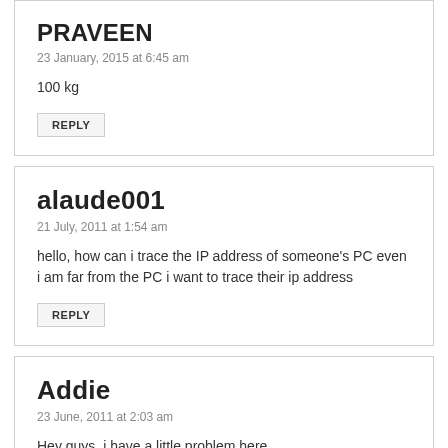PRAVEEN
23 January, 2015 at 6:45 am
100 kg
REPLY
alaude001
21 July, 2011 at 1:54 am
hello, how can i trace the IP address of someone's PC even i am far from the PC i want to trace their ip address
REPLY
Addie
23 June, 2011 at 2:03 am
Hey guys, i have a little problem here..